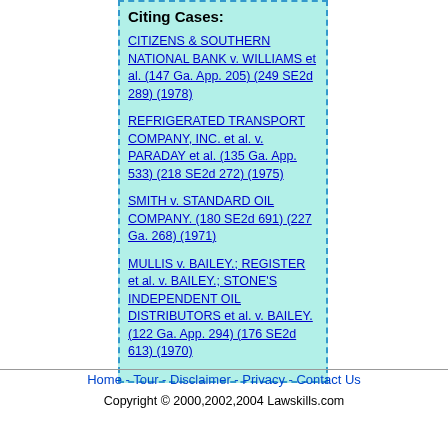Citing Cases:
CITIZENS & SOUTHERN NATIONAL BANK v. WILLIAMS et al. (147 Ga. App. 205) (249 SE2d 289) (1978)
REFRIGERATED TRANSPORT COMPANY, INC. et al. v. PARADAY et al. (135 Ga. App. 533) (218 SE2d 272) (1975)
SMITH v. STANDARD OIL COMPANY. (180 SE2d 691) (227 Ga. 268) (1971)
MULLIS v. BAILEY.; REGISTER et al. v. BAILEY.; STONE'S INDEPENDENT OIL DISTRIBUTORS et al. v. BAILEY. (122 Ga. App. 294) (176 SE2d 613) (1970)
Home - Tour - Disclaimer - Privacy - Contact Us
Copyright © 2000,2002,2004 Lawskills.com